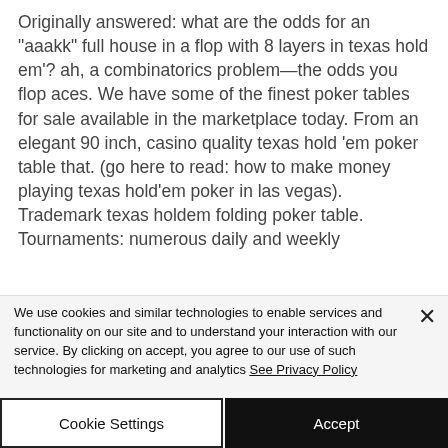Originally answered: what are the odds for an "aaakk" full house in a flop with 8 layers in texas hold em'? ah, a combinatorics problem—the odds you flop aces. We have some of the finest poker tables for sale available in the marketplace today. From an elegant 90 inch, casino quality texas hold 'em poker table that. (go here to read: how to make money playing texas hold'em poker in las vegas). Trademark texas holdem folding poker table. Tournaments: numerous daily and weekly
We use cookies and similar technologies to enable services and functionality on our site and to understand your interaction with our service. By clicking on accept, you agree to our use of such technologies for marketing and analytics See Privacy Policy